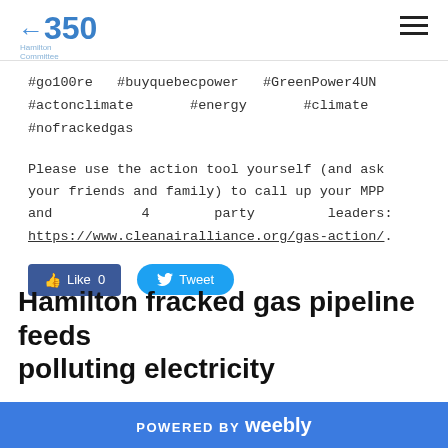350 Hamilton Committee
#go100re #buyquebecpower #GreenPower4UN #actonclimate #energy #climate #nofrackedgas
Please use the action tool yourself (and ask your friends and family) to call up your MPP and 4 party leaders: https://www.cleanairalliance.org/gas-action/.
[Figure (other): Facebook Like button (Like 0) and Twitter Tweet button]
Hamilton fracked gas pipeline feeds polluting electricity
POWERED BY weebly